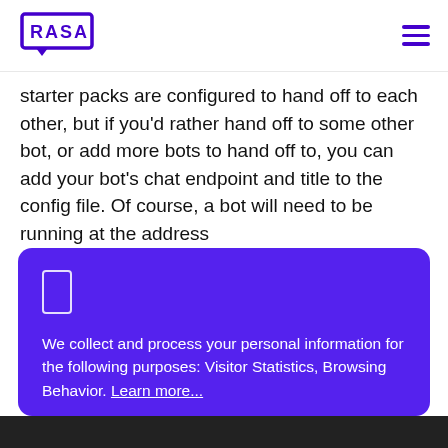RASA
starter packs are configured to hand off to each other, but if you'd rather hand off to some other bot, or add more bots to hand off to, you can add your bot's chat endpoint and title to the config file. Of course, a bot will need to be running at the address
We collect and process your personal information for the following purposes: Visitor Statistics, Browsing Behavior. Learn more...
Agree and Close